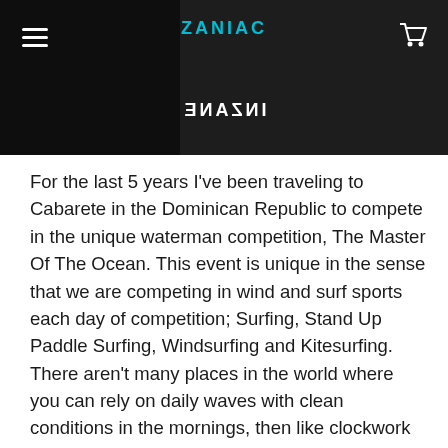ZANIAC / INZANE
For the last 5 years I've been traveling to Cabarete in the Dominican Republic to compete in the unique waterman competition, The Master Of The Ocean. This event is unique in the sense that we are competing in wind and surf sports each day of competition; Surfing, Stand Up Paddle Surfing, Windsurfing and Kitesurfing. There aren't many places in the world where you can rely on daily waves with clean conditions in the mornings, then like clockwork be able to windsurf and kitesurf once noon passes and the trade winds fill in. Playa De Encuentro is one of those places and it has been home to the Master Of The Ocean Waterman competition for over 15 years. These unique conditions are similar to what I experience home on Maui. Like I